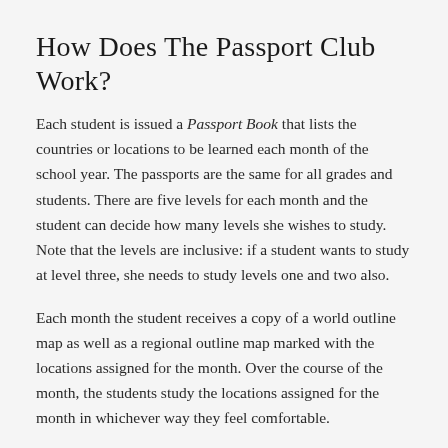How Does The Passport Club Work?
Each student is issued a Passport Book that lists the countries or locations to be learned each month of the school year. The passports are the same for all grades and students. There are five levels for each month and the student can decide how many levels she wishes to study. Note that the levels are inclusive: if a student wants to study at level three, she needs to study levels one and two also.
Each month the student receives a copy of a world outline map as well as a regional outline map marked with the locations assigned for the month. Over the course of the month, the students study the locations assigned for the month in whichever way they feel comfortable.